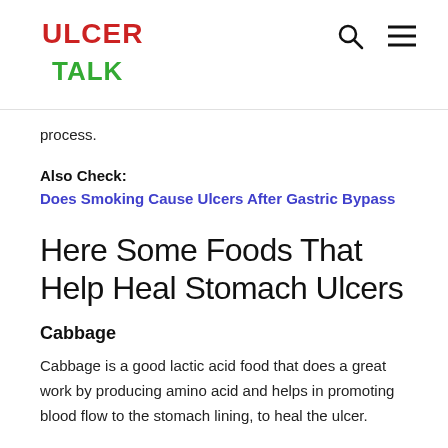ULCER TALK
process.
Also Check:
Does Smoking Cause Ulcers After Gastric Bypass
Here Some Foods That Help Heal Stomach Ulcers
Cabbage
Cabbage is a good lactic acid food that does a great work by producing amino acid and helps in promoting blood flow to the stomach lining, to heal the ulcer.